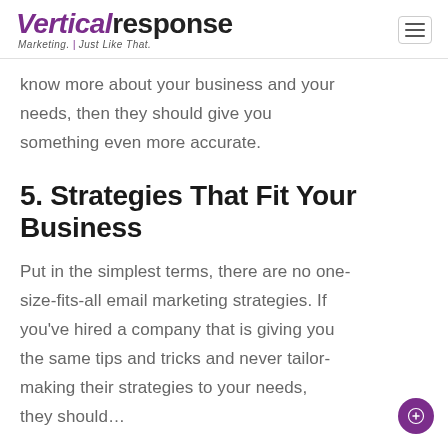VerticalResponse Marketing. Just Like That.
know more about your business and your needs, then they should give you something even more accurate.
5. Strategies That Fit Your Business
Put in the simplest terms, there are no one-size-fits-all email marketing strategies. If you've hired a company that is giving you the same tips and tricks and never tailor-making their strategies to your needs, they should…